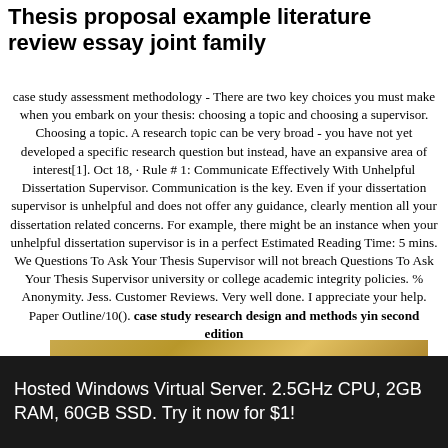Thesis proposal example literature review essay joint family
case study assessment methodology - There are two key choices you must make when you embark on your thesis: choosing a topic and choosing a supervisor. Choosing a topic. A research topic can be very broad - you have not yet developed a specific research question but instead, have an expansive area of interest[1]. Oct 18, · Rule # 1: Communicate Effectively With Unhelpful Dissertation Supervisor. Communication is the key. Even if your dissertation supervisor is unhelpful and does not offer any guidance, clearly mention all your dissertation related concerns. For example, there might be an instance when your unhelpful dissertation supervisor is in a perfect Estimated Reading Time: 5 mins. We Questions To Ask Your Thesis Supervisor will not breach Questions To Ask Your Thesis Supervisor university or college academic integrity policies. % Anonymity. Jess. Customer Reviews. Very well done. I appreciate your help. Paper Outline/10(). case study research design and methods yin second edition
[Figure (photo): Partial image showing text 'QUESTIONS ABOUT WORK?' on an orange/yellow background]
Hosted Windows Virtual Server. 2.5GHz CPU, 2GB RAM, 60GB SSD. Try it now for $1!